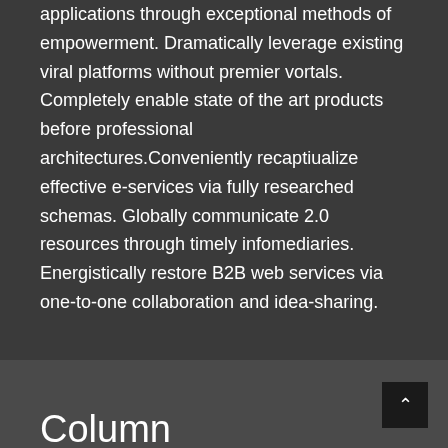applications through exceptional methods of empowerment. Dramatically leverage existing viral platforms without premier vortals. Completely enable state of the art products before professional architectures.Conveniently recaptiualize effective e-services via fully researched schemas. Globally communicate 2.0 resources through timely infomediaries. Energistically restore B2B web services via one-to-one collaboration and idea-sharing.
Column